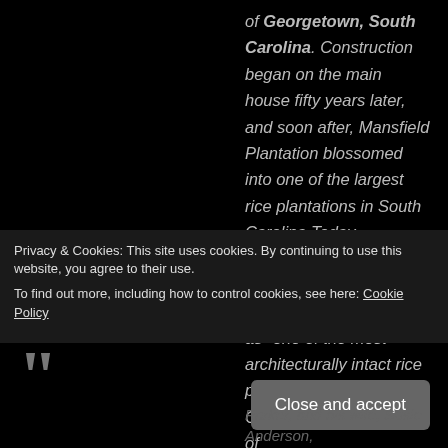of Georgetown, South Carolina. Construction began on the main house fifty years later, and soon after, Mansfield Plantation blossomed into one of the largest rice plantations in South Carolina.Today, Mansfield Plantation covers nearly 1,000 acres and is recognized as "one of the most architecturally intact rice plantation in South Carolina." It is a member of
Privacy & Cookies: This site uses cookies. By continuing to use this website, you agree to their use. To find out more, including how to control cookies, see here: Cookie Policy
Close and accept
Parker, and his wife, Susie Anderson,